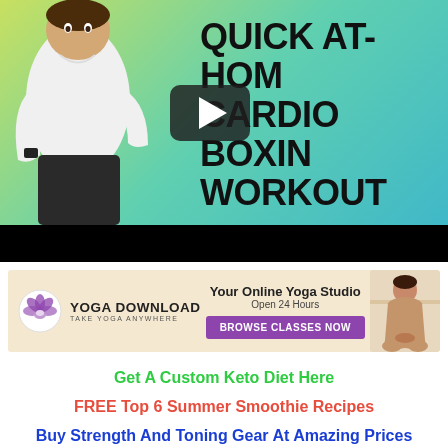[Figure (screenshot): Video thumbnail for 'Quick At-Home Cardio Boxing Workout' showing a woman in athletic wear on a green-to-teal gradient background with bold black text and a play button overlay. Bottom portion is black (video player bar).]
[Figure (infographic): Advertisement banner for Yoga Download on beige background: lotus flower logo, 'YOGA DOWNLOAD TAKE YOGA ANYWHERE', 'Your Online Yoga Studio Open 24 Hours', purple 'BROWSE CLASSES NOW' button, woman meditating photo on right.]
Get A Custom Keto Diet Here
FREE Top 6 Summer Smoothie Recipes
Buy Strength And Toning Gear At Amazing Prices